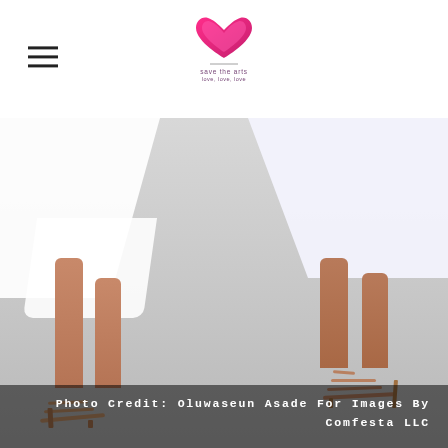[Figure (photo): Two models from below the waist wearing white dresses and nude strappy heeled sandals, photographed against a light grey background. Left model stands facing slightly right; right model stands facing left.]
Photo Credit: Oluwaseun Asade For Images By Comfesta LLC